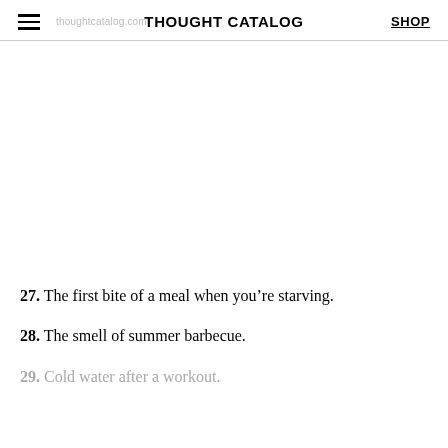THOUGHT CATALOG | SHOP
27. The first bite of a meal when you're starving.
28. The smell of summer barbecue.
29. Cold water after a workout.